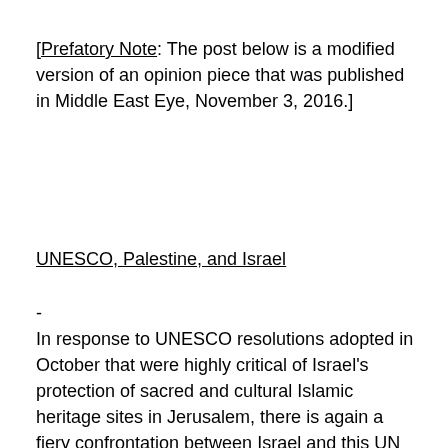[Prefatory Note: The post below is a modified version of an opinion piece that was published in Middle East Eye, November 3, 2016.]
UNESCO, Palestine, and Israel
-
In response to UNESCO resolutions adopted in October that were highly critical of Israel's protection of sacred and cultural Islamic heritage sites in Jerusalem, there is again a fiery confrontation between Israel and this UN organ